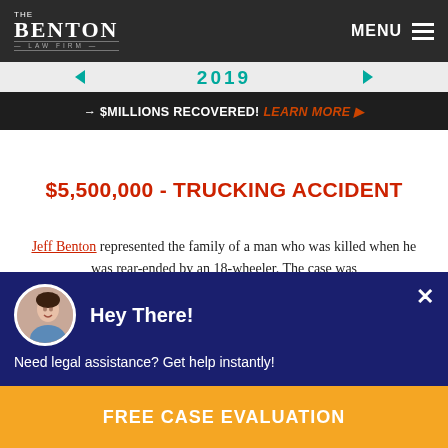The Benton Law Firm — MENU
[Figure (screenshot): Banner showing '2019' with teal arrows on either side]
→ $MILLIONS RECOVERED! LEARN MORE ▶
$5,500,000 - TRUCKING ACCIDENT
Jeff Benton represented the family of a man who was killed when he was rear-ended by an 18-wheeler. The case was resolved approximately one year after the incident.
Hey There!
Need legal assistance? Get help instantly!
FREE CASE EVALUATION